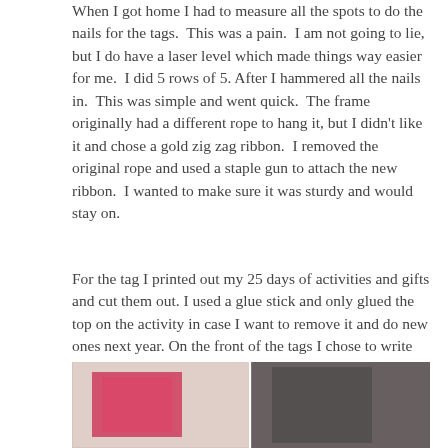When I got home I had to measure all the spots to do the nails for the tags.  This was a pain.  I am not going to lie, but I do have a laser level which made things way easier for me.  I did 5 rows of 5. After I hammered all the nails in.  This was simple and went quick.  The frame originally had a different rope to hang it, but I didn't like it and chose a gold zig zag ribbon.  I removed the original rope and used a staple gun to attach the new ribbon.  I wanted to make sure it was sturdy and would stay on.
For the tag I printed out my 25 days of activities and gifts and cut them out. I used a glue stick and only glued the top on the activity in case I want to remove it and do new ones next year. On the front of the tags I chose to write the numbers. I went back and forth with doing printed stickers or even creating with my circuit but I decided against it. I wanted the hand drawn look.
[Figure (photo): A photo strip showing craft materials including what appears to be pink/red fabric or ribbon and dark background elements]